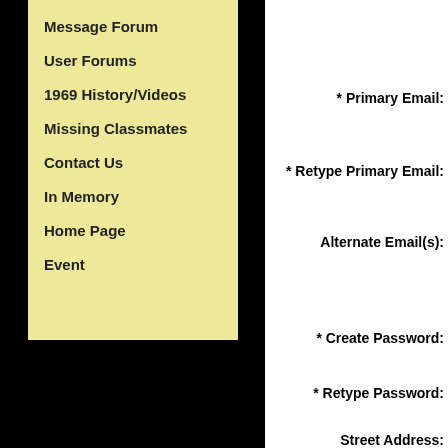Message Forum
User Forums
1969 History/Videos
Missing Classmates
Contact Us
In Memory
Home Page
Event
* Primary Email:
* Retype Primary Email:
Alternate Email(s):
* Create Password:
* Retype Password:
Street Address: